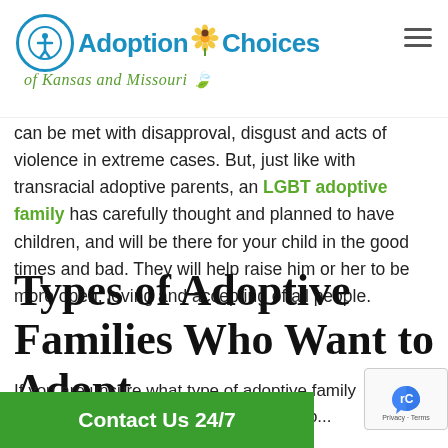Adoption Choices of Kansas and Missouri
can be met with disapproval, disgust and acts of violence in extreme cases. But, just like with transracial adoptive parents, an LGBT adoptive family has carefully thought and planned to have children, and will be there for your child in the good times and bad. They will help raise him or her to be more open, loving and accepting of all people.
Types of Adoptive Families Who Want to Adopt
If you are unsure what type of adoptive family you would like, consult with your adoption...